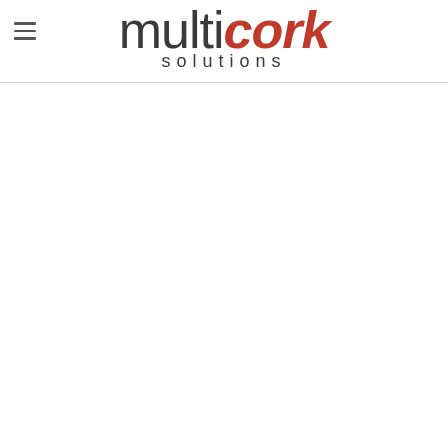[Figure (logo): Multicork Solutions logo: 'multi' in dark grey thin letters, 'cork' in bold italic red/orange, 'solutions' in spaced grey letters below, with a hamburger menu icon to the left]